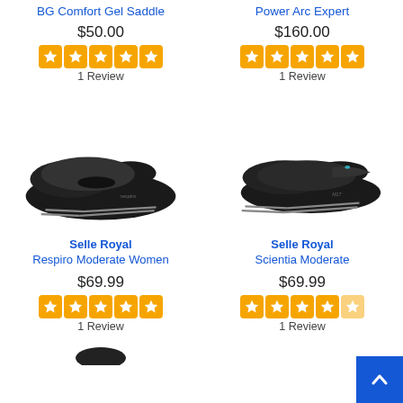BG Comfort Gel Saddle
$50.00
1 Review
Power Arc Expert
$160.00
1 Review
[Figure (photo): Black bicycle saddle - Selle Royal Respiro Moderate Women]
[Figure (photo): Black bicycle saddle - Selle Royal Scientia Moderate]
Selle Royal Respiro Moderate Women
$69.99
1 Review
Selle Royal Scientia Moderate
$69.99
1 Review